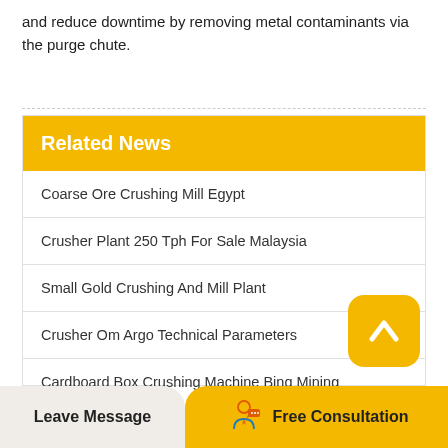and reduce downtime by removing metal contaminants via the purge chute.
Related News
Coarse Ore Crushing Mill Egypt
Crusher Plant 250 Tph For Sale Malaysia
Small Gold Crushing And Mill Plant
Crusher Om Argo Technical Parameters
Cardboard Box Crushing Machine Binq Mining
Leave Message
Free Consultation